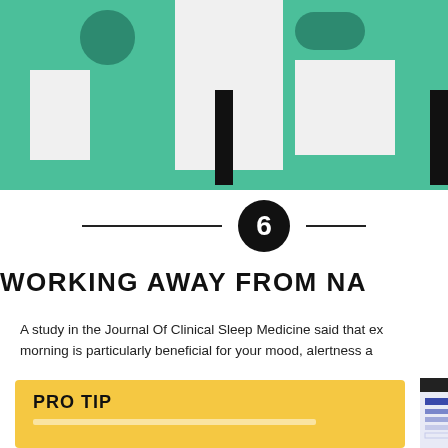[Figure (illustration): Top decorative illustration with teal/green geometric shapes and large letter forms on a light gray background]
[Figure (infographic): Section number 6 in a black circle flanked by horizontal lines]
WORKING AWAY FROM NA
A study in the Journal Of Clinical Sleep Medicine said that ex morning is particularly beneficial for your mood, alertness a
[Figure (infographic): Yellow PRO TIP box with bold label and placeholder text lines below]
[Figure (illustration): Right side panel showing a stylized screen/monitor graphic with blue horizontal lines on dark background]